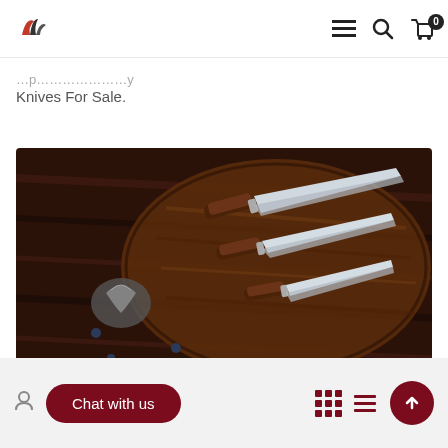[Figure (logo): Falcon/bird logo in red and dark tones, top left header]
Navigation header with hamburger menu, search icon, cart icon with 0 badge
Knives For Sale.
[Figure (photo): Three kitchen knives with wooden handles arranged on a round wooden cutting board, photographed from above on a dark wood surface]
[Figure (screenshot): Bottom toolbar with chat widget button 'Chat with us', grid view icon, list view icon, and scroll-to-top button in dark red]